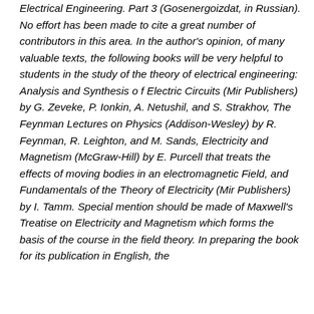Electrical Engineering. Part 3 (Gosenergoizdat, in Russian). No effort has been made to cite a great number of contributors in this area. In the author's opinion, of many valuable texts, the following books will be very helpful to students in the study of the theory of electrical engineering: Analysis and Synthesis o f Electric Circuits (Mir Publishers) by G. Zeveke, P. Ionkin, A. Netushil, and S. Strakhov, The Feynman Lectures on Physics (Addison-Wesley) by R. Feynman, R. Leighton, and M. Sands, Electricity and Magnetism (McGraw-Hill) by E. Purcell that treats the effects of moving bodies in an electromagnetic Field, and Fundamentals of the Theory of Electricity (Mir Publishers) by I. Tamm. Special mention should be made of Maxwell's Treatise on Electricity and Magnetism which forms the basis of the course in the field theory. In preparing the book for its publication in English, the